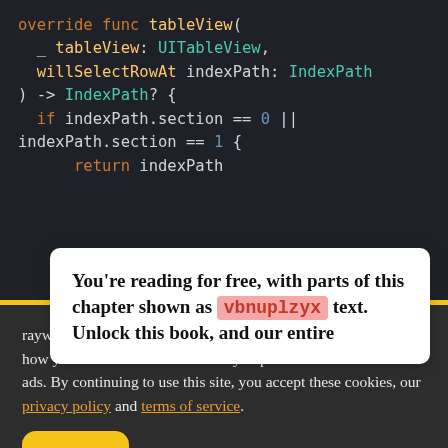[Figure (screenshot): Dark-themed Swift code editor showing override func tableView(_ tableView: UITableView, willSelectRowAt indexPath: IndexPath) -> IndexPath? { if indexPath.section == 0 || indexPath.section == 1 { return indexPath]
You're reading for free, with parts of this chapter shown as vbnuplzyx text. Unlock this book, and our entire
raywenderlich.com and our partners use cookies to understand how you use our site and to serve you personalized content and ads. By continuing to use this site, you accept these cookies, our privacy policy and terms of service.
OK ✓   Manage privacy settings